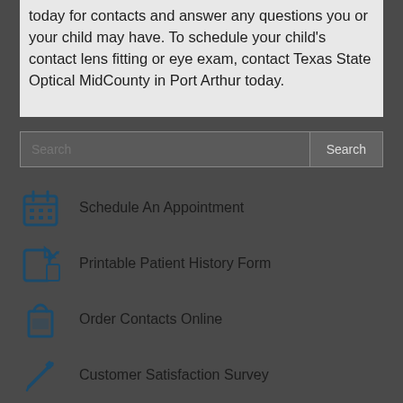today for contacts and answer any questions you or your child may have. To schedule your child's contact lens fitting or eye exam, contact Texas State Optical MidCounty in Port Arthur today.
Schedule An Appointment
Printable Patient History Form
Order Contacts Online
Customer Satisfaction Survey
Texas State Optical